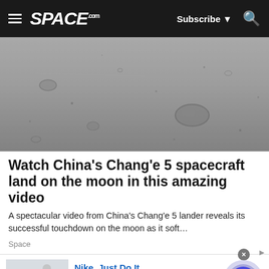SPACE.com — Subscribe — Search
[Figure (photo): Grayscale aerial/descending view of the lunar surface showing craters and rocky terrain, taken from China's Chang'e 5 lander during approach]
Watch China's Chang'e 5 spacecraft land on the moon in this amazing video
A spectacular video from China's Chang'e 5 lander reveals its successful touchdown on the moon as it soft…
Space
[Figure (screenshot): Nike advertisement banner: 'Nike. Just Do It' — Inspiring the world's athletes, Nike delivers the deals — www.nike.com — with shoe product image and play button]